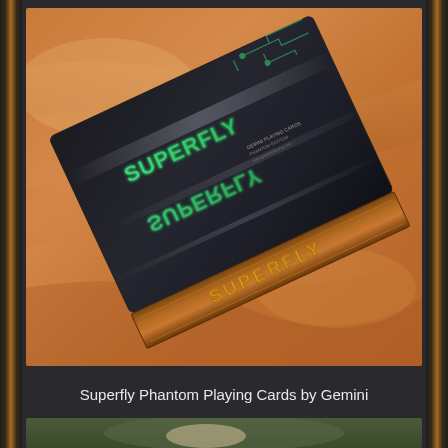[Figure (photo): Superfly Phantom Playing Cards box by Gemini. A black card box with green 'SUPERFLY' text and gold/copper accents on the spine, resting on golden/orange satin fabric. The box has a reflective black surface with diagonal stripe pattern and circuit board design elements.]
Superfly Phantom Playing Cards by Gemini
[Figure (photo): Partial view of another image visible at the bottom of the page, appears to show a hand or card.]